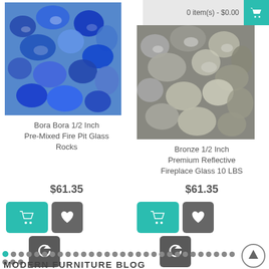0 item(s) - $0.00
[Figure (photo): Bora Bora blue fire pit glass rocks]
Bora Bora 1/2 Inch Pre-Mixed Fire Pit Glass Rocks
$61.35
[Figure (photo): Bronze reflective fireplace glass rocks]
Bronze 1/2 Inch Premium Reflective Fireplace Glass 10 LBS
$61.35
MODERN FURNITURE BLOG